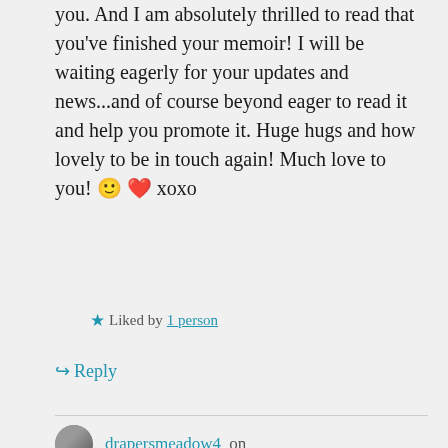you. And I am absolutely thrilled to read that you've finished your memoir! I will be waiting eagerly for your updates and news...and of course beyond eager to read it and help you promote it. Huge hugs and how lovely to be in touch again! Much love to you! 🙂 ❤️ xoxo
★ Liked by 1 person
↪ Reply
drapersmeadow4 on